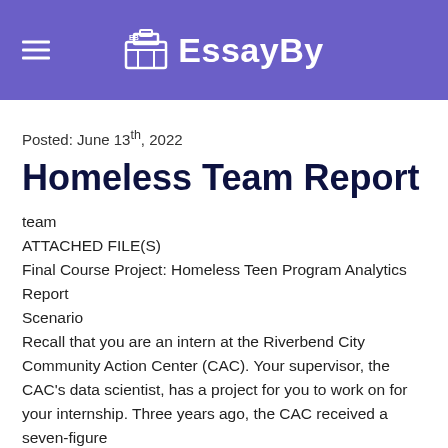EssayBy
Posted: June 13th, 2022
Homeless Team Report
team
ATTACHED FILE(S)
Final Course Project: Homeless Teen Program Analytics Report
Scenario
Recall that you are an intern at the Riverbend City Community Action Center (CAC). Your supervisor, the CAC's data scientist, has a project for you to work on for your internship. Three years ago, the CAC received a seven-figure